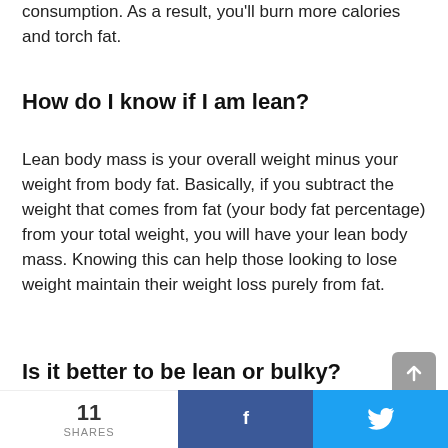consumption. As a result, you'll burn more calories and torch fat.
How do I know if I am lean?
Lean body mass is your overall weight minus your weight from body fat. Basically, if you subtract the weight that comes from fat (your body fat percentage) from your total weight, you will have your lean body mass. Knowing this can help those looking to lose weight maintain their weight loss purely from fat.
Is it better to be lean or bulky?
11 SHARES  f  🐦